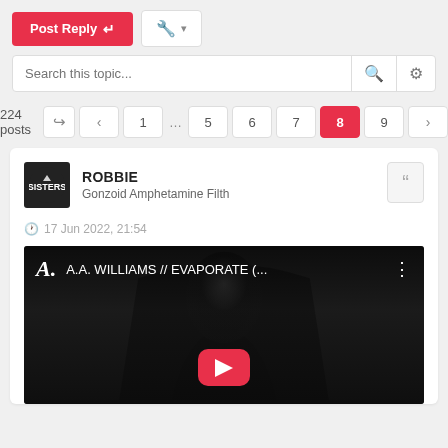[Figure (screenshot): Forum interface showing Post Reply button, tools dropdown, search bar, pagination (224 posts, pages 1...5 6 7 8 9), and a post by ROBBIE (Gonzoid Amphetamine Filth) dated 17 Jun 2022, 21:54, with an embedded YouTube video thumbnail for A.A. WILLIAMS // EVAPORATE (...)]
Post Reply
Search this topic...
224 posts
ROBBIE
Gonzoid Amphetamine Filth
17 Jun 2022, 21:54
A.A. WILLIAMS // EVAPORATE (...